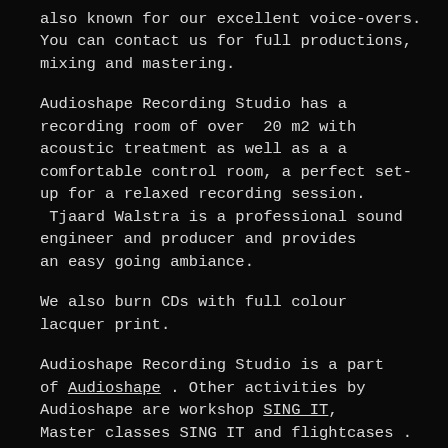also known for our excellent voice-overs. You can contact us for full productions, mixing and mastering.
Audioshape Recording Studio has a recording room of over  20 m2 with acoustic treatment as well as a a comfortable control room, a perfect set-up for a relaxed recording session.  Tjaard Walstra is a professional sound engineer and producer and provides an easy going ambiance.
We also burn CDs with full colour lacquer print.
Audioshape Recording Studio is a part of Audioshape . Other activities by Audioshape are workshop SING IT, Master classes SING IT and flightcases .
SING IT is a unique concept that (text continues below)